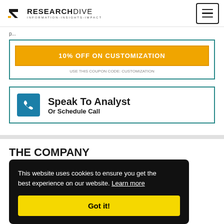RESEARCHDIVE INFORMATION-INSIGHTS-IMPACT
10% OFF ON CUSTOMIZATION
Speak To Analyst
Or Schedule Call
THE COMPANY
About Us
SERVICES
This website uses cookies to ensure you get the best experience on our website. Learn more
Got it!